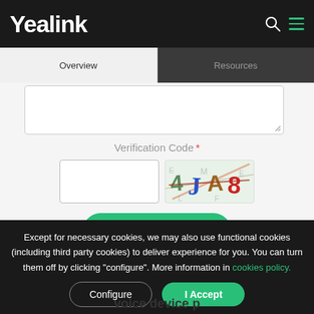Yealink
Overview | Resources
[Figure (screenshot): Text area input box with resize handle]
Verification Code *
[Figure (screenshot): Verification code input field next to a CAPTCHA image showing distorted characters: 4 J A 8]
Submit
Except for necessary cookies, we may also use functional cookies (including third party cookies) to deliver experience for you. You can turn them off by clicking "configure". More information in cookies policy.
Configure
I Accept
voice device p